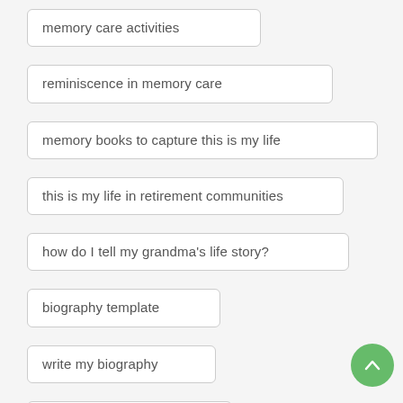memory care activities
reminiscence in memory care
memory books to capture this is my life
this is my life in retirement communities
how do I tell my grandma's life story?
biography template
write my biography
writing my biography
how do i interview my mother my father my grandma my grandpa